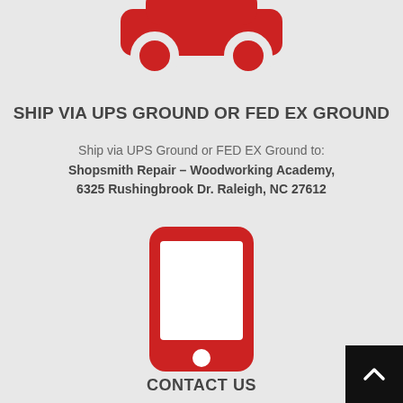[Figure (illustration): Red car icon viewed from the front/top, showing body silhouette with two circular wheels]
SHIP VIA UPS GROUND OR FED EX GROUND
Ship via UPS Ground or FED EX Ground to: Shopsmith Repair – Woodworking Academy, 6325 Rushingbrook Dr. Raleigh, NC 27612
[Figure (illustration): Red smartphone/mobile phone icon with white screen area and circular home button]
CONTACT US